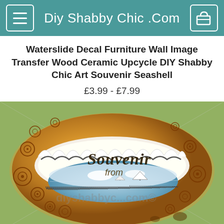Diy Shabby Chic .Com
Waterslide Decal Furniture Wall Image Transfer Wood Ceramic Upcycle DIY Shabby Chic Art Souvenir Seashell
£3.99 - £7.99
[Figure (illustration): Vintage illustration of a cowrie seashell with decorative circles/dots on its surface. The shell is depicted as an eye-like oval shape with white frilly interior. Inside the shell opening is a painted watercolor scene of the sea with sailboats. Text on the shell reads 'Souvenir from' in ornate lettering. A watermark 'diyshabbyc...com©' is visible. Background is muted green.]